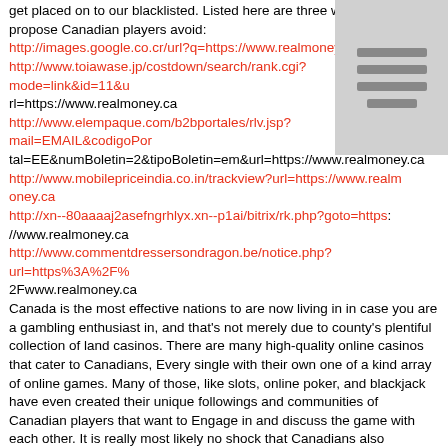get placed on to our blacklisted. Listed here are three web pages we propose Canadian players avoid:
http://images.google.co.cr/url?q=https://www.realmoney.ca
http://www.toiawase.jp/costdown/search/rank.cgi?mode=link&id=11&u
rl=https://www.realmoney.ca
http://www.elempaque.com/b2bportales/rlv.jsp?mail=EMAIL&codigoPor
tal=EE&numBoletin=2&tipoBoletin=em&url=https://www.realmoney.ca
http://www.mobilepriceindia.co.in/trackview?url=https://www.realmoney.ca
http://xn--80aaaaj2asefngrhlyx.xn--p1ai/bitrix/rk.php?goto=https://www.realmoney.ca
http://www.commentdressersondragon.be/notice.php?url=https%3A%2F%
2Fwww.realmoney.ca
Canada is the most effective nations to are now living in in case you are a gambling enthusiast in, and that's not merely due to county's plentiful collection of land casinos. There are many high-quality online casinos that cater to Canadians, Every single with their own one of a kind array of online games. Many of those, like slots, online poker, and blackjack have even created their unique followings and communities of Canadian players that want to Engage in and discuss the game with each other. It is really most likely no shock that Canadians also appreciate betting on sport (Specifically the NHL, Worldwide hockey tournaments, and also the CFL) or participating in the official condition-run online lottery video games, as well.
[Figure (other): Grey icon/image placeholder in the top-right corner of the page]